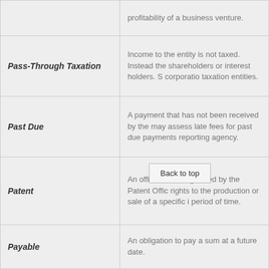| Term | Definition |
| --- | --- |
|  | profitability of a business venture. |
| Pass-Through Taxation | Income to the entity is not taxed. Instead the shareholders or interest holders. S corporatio taxation entities. |
| Past Due | A payment that has not been received by the may assess late fees for past due payments reporting agency. |
| Patent | An official license granted by the Patent Offic rights to the production or sale of a specific i period of time. |
| Payable | An obligation to pay a sum at a future date. |
| Payroll | A record of wages or salaries paid or payable a given period. |
|  |  |